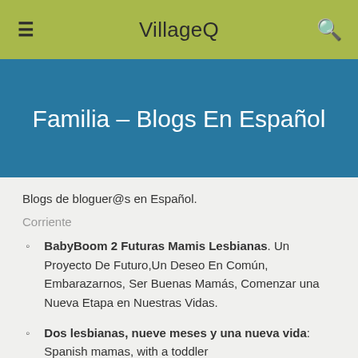VillageQ
Familia – Blogs En Español
Blogs de bloguer@s en Español.
Corriente
BabyBoom 2 Futuras Mamis Lesbianas. Un Proyecto De Futuro,Un Deseo En Común, Embarazarnos, Ser Buenas Mamás, Comenzar una Nueva Etapa en Nuestras Vidas.
Dos lesbianas, nueve meses y una nueva vida: Spanish mamas, with a toddler